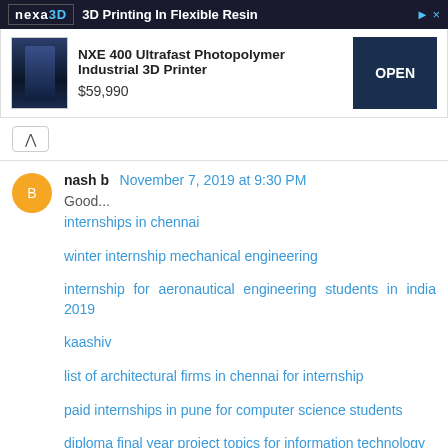[Figure (screenshot): Advertisement banner for Nexa3D: '3D Printing In Flexible Resin'. Shows NXE 400 Ultrafast Photopolymer Industrial 3D Printer at $59,990 with an OPEN button.]
nash b  November 7, 2019 at 9:30 PM
Good...
internships in chennai
winter internship mechanical engineering
internship for aeronautical engineering students in india 2019
kaashiv
list of architectural firms in chennai for internship
paid internships in pune for computer science students
diploma final year project topics for information technology